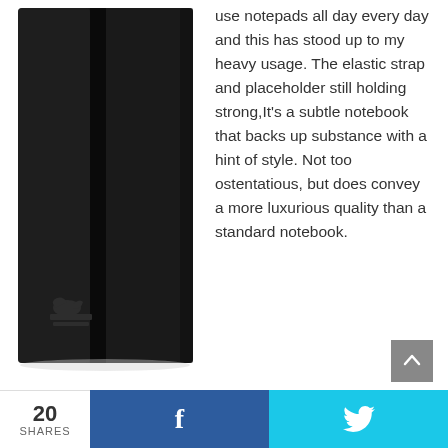[Figure (photo): Black hardcover notebook with elastic closure band and embossed logo on front cover, photographed against white background]
use notepads all day every day and this has stood up to my heavy usage. The elastic strap and placeholder still holding strong,It's a subtle notebook that backs up substance with a hint of style. Not too ostentatious, but does convey a more luxurious quality than a standard notebook.
20 SHARES
[Figure (other): Share bar with Facebook and Twitter buttons]